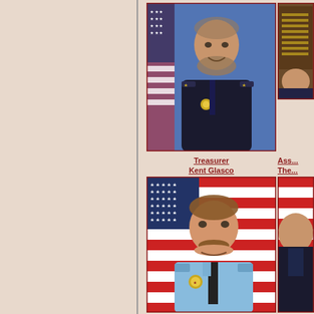[Figure (photo): Portrait photo of a male officer in dark uniform with badge and medals, standing in front of an American flag and blue background]
[Figure (photo): Partial portrait photo of a person in uniform, partially cropped on the right side of the page, in front of a plaque or board]
Treasurer
Kent Glasco
Ass...
The...
[Figure (photo): Portrait photo of a male officer with mustache in light blue uniform with badge, standing in front of an American flag]
[Figure (photo): Partial portrait photo of a person in dark uniform, partially cropped on the right side, in front of an American flag]